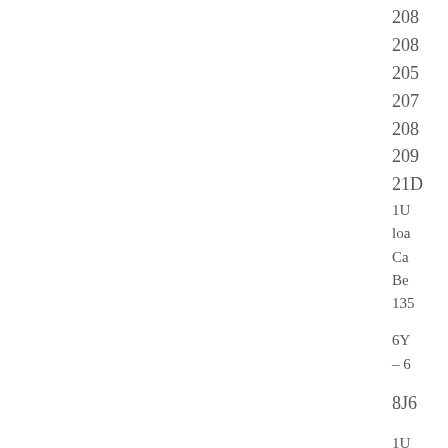208
205
207
208
209
210
1U
loa
Ca
Be
135
6Y
– 6
8J6
1U